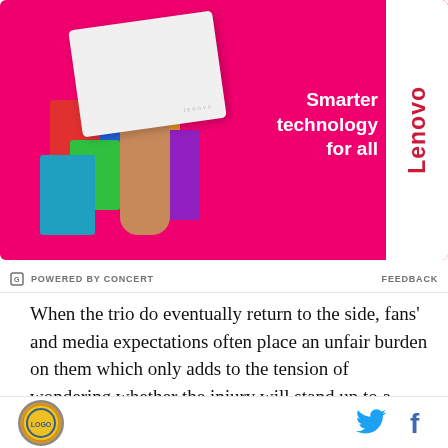[Figure (photo): Lenovo advertisement banner. Pink/magenta background with a person holding a white laptop wearing a colorful dress. White Lenovo logo on white vertical bar on right. Text reads 'Smarter technology for all'.]
POWERED BY CONCERT   FEEDBACK
When the trio do eventually return to the side, fans' and media expectations often place an unfair burden on them which only adds to the tension of wondering whether the injury will stand up to a heavy challenge or a sharp turn.
In the heat of the moment, there is often no time to consider whether that extra sprint is going to be the one that aggravates the recovering tissues until all the
[site logo] [Twitter icon] [Facebook icon]